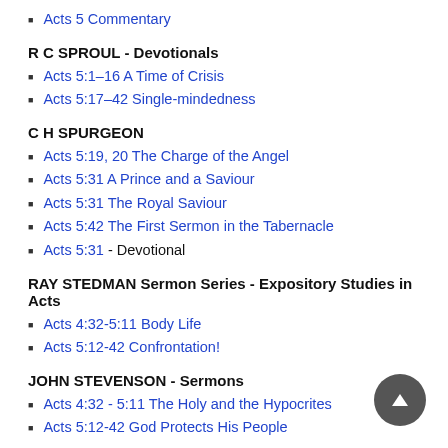Acts 5 Commentary
R C SPROUL - Devotionals
Acts 5:1–16 A Time of Crisis
Acts 5:17–42 Single-mindedness
C H SPURGEON
Acts 5:19, 20 The Charge of the Angel
Acts 5:31 A Prince and a Saviour
Acts 5:31 The Royal Saviour
Acts 5:42 The First Sermon in the Tabernacle
Acts 5:31 - Devotional
RAY STEDMAN Sermon Series - Expository Studies in Acts
Acts 4:32-5:11 Body Life
Acts 5:12-42 Confrontation!
JOHN STEVENSON - Sermons
Acts 4:32 - 5:11 The Holy and the Hypocrites
Acts 5:12-42 God Protects His People